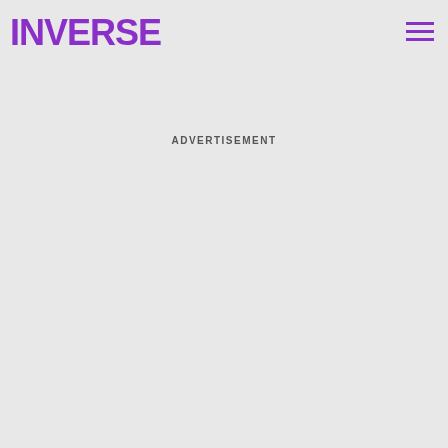INVERSE
came saber in The Mandalorian, we guessed that he may have gotten it by killing Bo-Katan.
ADVERTISEMENT